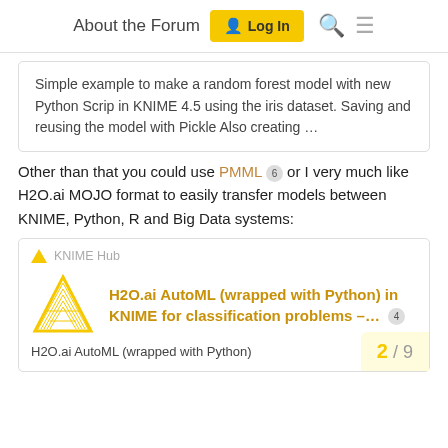About the Forum  Log In
Simple example to make a random forest model with new Python Scrip in KNIME 4.5 using the iris dataset. Saving and reusing the model with Pickle Also creating ...
Other than that you could use PMML 6 or I very much like H2O.ai MOJO format to easily transfer models between KNIME, Python, R and Big Data systems:
[Figure (screenshot): KNIME Hub card showing H2O.ai AutoML (wrapped with Python) in KNIME for classification problems – with badge count 4, a triangle logo icon, and bottom snippet text. Page indicator 2/9 in bottom right corner.]